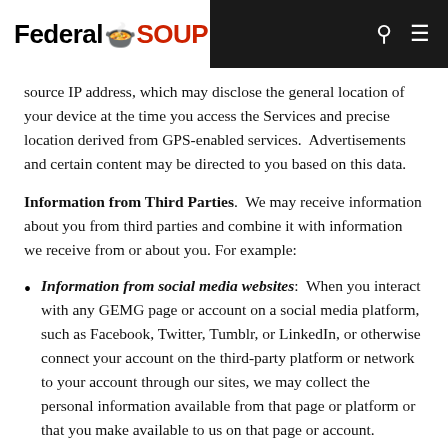FederalSOUP
source IP address, which may disclose the general location of your device at the time you access the Services and precise location derived from GPS-enabled services.  Advertisements and certain content may be directed to you based on this data.
Information from Third Parties.  We may receive information about you from third parties and combine it with information we receive from or about you. For example:
Information from social media websites:  When you interact with any GEMG page or account on a social media platform, such as Facebook, Twitter, Tumblr, or LinkedIn, or otherwise connect your account on the third-party platform or network to your account through our sites, we may collect the personal information available from that page or platform or that you make available to us on that page or account.